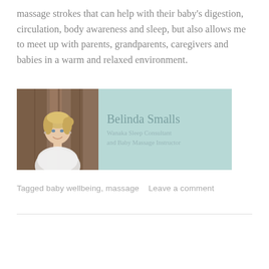massage strokes that can help with their baby's digestion, circulation, body awareness and sleep, but also allows me to meet up with parents, grandparents, caregivers and babies in a warm and relaxed environment.
[Figure (infographic): Author card showing a photo of Belinda Smalls (blonde woman in white top outdoors against tree background) on the left, and a teal/mint background on the right with her name 'Belinda Smalls' and title 'Wanaka Sleep Consultant and Baby Massage Instructor']
Tagged baby wellbeing, massage    Leave a comment